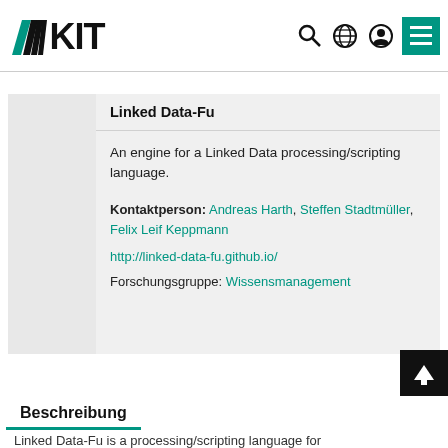KIT — Karlsruher Institut für Technologie
Linked Data-Fu
An engine for a Linked Data processing/scripting language.
Kontaktperson: Andreas Harth, Steffen Stadtmüller, Felix Leif Keppmann
http://linked-data-fu.github.io/
Forschungsgruppe: Wissensmanagement
Beschreibung
Linked Data-Fu is a processing/scripting language for